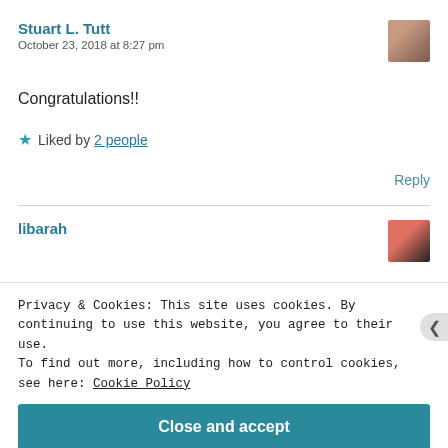Stuart L. Tutt
October 23, 2018 at 8:27 pm
Congratulations!!
Liked by 2 people
Reply
libarah
Privacy & Cookies: This site uses cookies. By continuing to use this website, you agree to their use. To find out more, including how to control cookies, see here: Cookie Policy
Close and accept